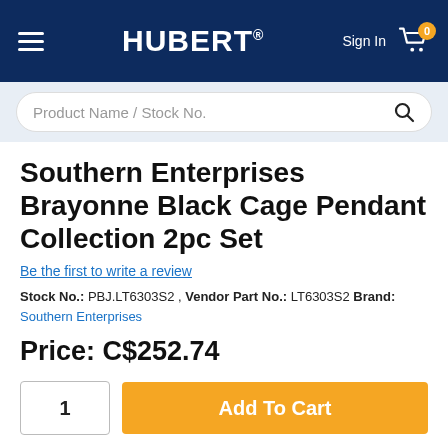HUBERT® Sign In [Cart: 0]
Product Name / Stock No.
Southern Enterprises Brayonne Black Cage Pendant Collection 2pc Set
Be the first to write a review
Stock No.: PBJ.LT6303S2 , Vendor Part No.: LT6303S2 Brand: Southern Enterprises
Price: C$252.74
1  Add To Cart
In Stock